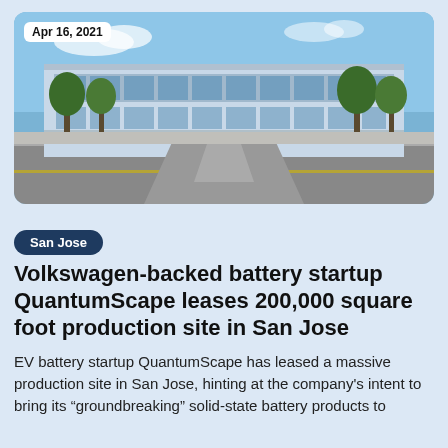[Figure (photo): Exterior photo of a modern office/industrial building with trees lining a driveway, taken from across a road. Blue sky visible. Date badge 'Apr 16, 2021' in top-left corner.]
San Jose
Volkswagen-backed battery startup QuantumScape leases 200,000 square foot production site in San Jose
EV battery startup QuantumScape has leased a massive production site in San Jose, hinting at the company's intent to bring its "groundbreaking" solid-state battery products to